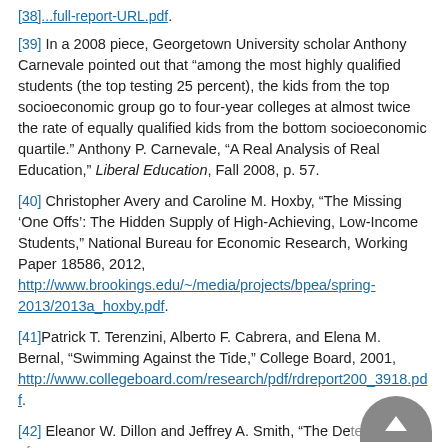[38] ...full report URL (truncated at top)
[39] In a 2008 piece, Georgetown University scholar Anthony Carnevale pointed out that “among the most highly qualified students (the top testing 25 percent), the kids from the top socioeconomic group go to four-year colleges at almost twice the rate of equally qualified kids from the bottom socioeconomic quartile.” Anthony P. Carnevale, “A Real Analysis of Real Education,” Liberal Education, Fall 2008, p. 57.
[40] Christopher Avery and Caroline M. Hoxby, “The Missing ‘One Offs’: The Hidden Supply of High-Achieving, Low-Income Students,” National Bureau for Economic Research, Working Paper 18586, 2012, http://www.brookings.edu/~/media/projects/bpea/spring-2013/2013a_hoxby.pdf.
[41] Patrick T. Terenzini, Alberto F. Cabrera, and Elena M. Bernal, “Swimming Against the Tide,” College Board, 2001, http://www.collegeboard.com/research/pdf/rdreport200_3918.pdf.
[42] Eleanor W. Dillon and Jeffrey A. Smith, “The Determinants of...